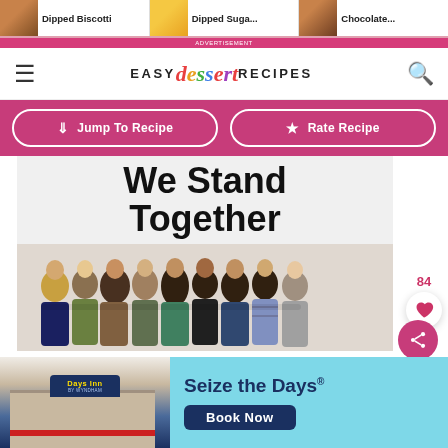Dipped Biscotti | Dipped Suga... | Chocolate
EASY dessert RECIPES
↓ Jump To Recipe
★ Rate Recipe
[Figure (photo): Group of diverse people standing with arms around each other, backs to camera, with bold text 'We Stand Together' above them]
84
[Figure (photo): Days Inn by Wyndham hotel advertisement with 'Seize the Days' text and 'Book Now' button on cyan background]